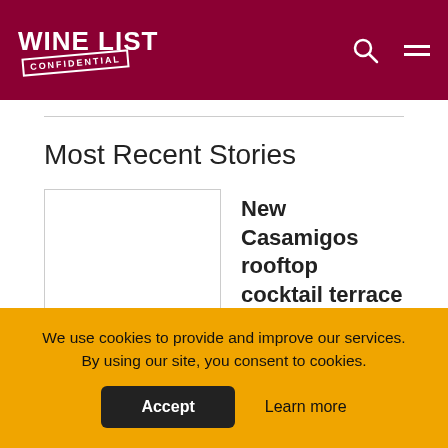WINE LIST CONFIDENTIAL
Most Recent Stories
New Casamigos rooftop cocktail terrace opens in London's Chelsea
We use cookies to provide and improve our services. By using our site, you consent to cookies.
Accept   Learn more